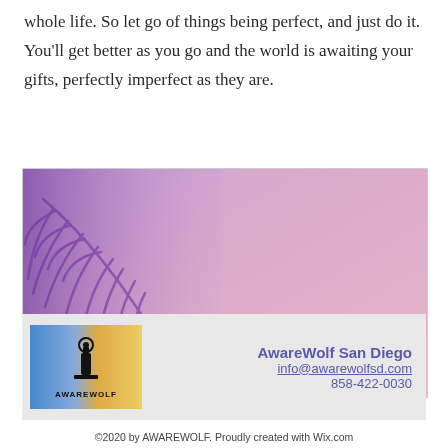whole life. So let go of things being perfect, and just do it. You’ll get better as you go and the world is awaiting your gifts, perfectly imperfect as they are.
[Figure (photo): Decorative image of a pink and purple background with palm leaf shadows creating artistic patterns]
[Figure (logo): AwareWolf logo with blue and orange gradient background and wolf silhouette]
AwareWolf San Diego
info@awarewolfsd.com
858-422-0030
©2020 by AWAREWOLF. Proudly created with Wix.com